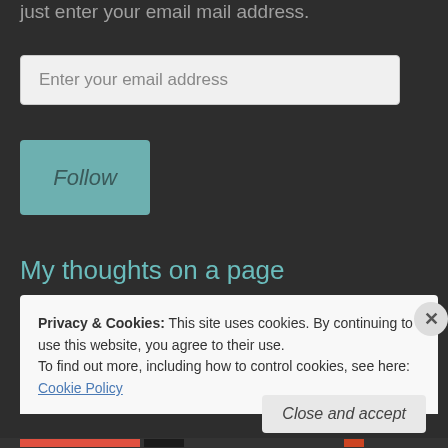just enter your email mail address.
[Figure (screenshot): Email input field with placeholder text 'Enter your email address']
[Figure (screenshot): Follow button in teal/muted green color with italic text 'Follow']
My thoughts on a page
Privacy & Cookies: This site uses cookies. By continuing to use this website, you agree to their use.
To find out more, including how to control cookies, see here: Cookie Policy
Close and accept